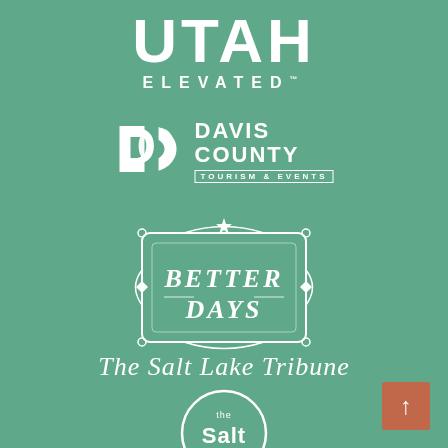[Figure (logo): Utah Elevated logo — large white bold 'UTAH' text with 'ELEVATED' in smaller spaced capitals below]
[Figure (logo): Davis County Tourism & Events logo — stylized DC icon with 'DAVIS COUNTY' in bold and 'TOURISM & EVENTS' in a bordered label]
[Figure (logo): Better Days logo — ornate decorative badge/frame in white with cursive 'Better Days' text inside]
[Figure (logo): The Salt Lake Tribune logo — white italic serif text reading 'The Salt Lake Tribune']
[Figure (logo): The Salt Project logo — circular white outline badge with 'the Salt project' text inside]